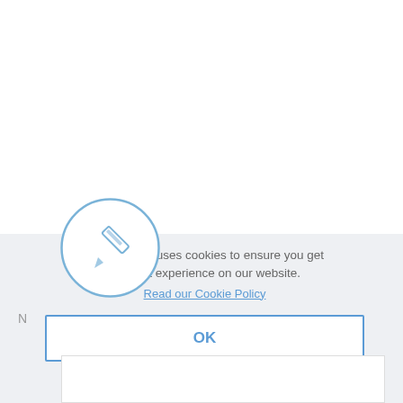[Figure (illustration): A circular icon with a blue outline containing a pen/stylus icon, representing a form or lease request tool.]
This website uses cookies to ensure you get the best experience on our website.
Read our Cookie Policy
Lease Request for Quote
OK
Name